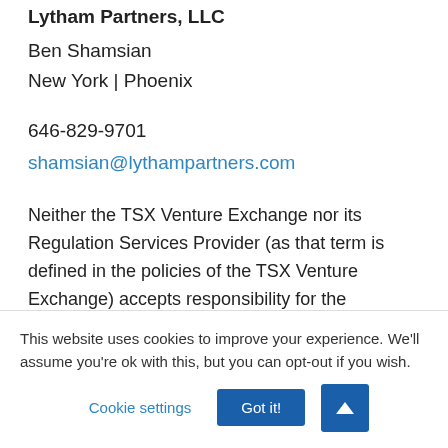Lytham Partners, LLC (cropped)
Ben Shamsian
New York | Phoenix
646-829-9701
shamsian@lythampartners.com
Neither the TSX Venture Exchange nor its Regulation Services Provider (as that term is defined in the policies of the TSX Venture Exchange) accepts responsibility for the adequacy of this release.
This website uses cookies to improve your experience. We'll assume you're ok with this, but you can opt-out if you wish.
Cookie settings
Got it!